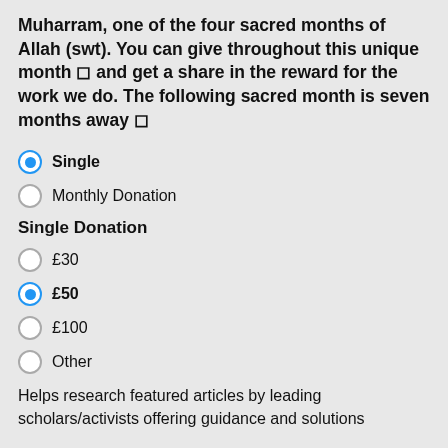Muharram, one of the four sacred months of Allah (swt). You can give throughout this unique month 🌙 and get a share in the reward for the work we do. The following sacred month is seven months away 🌙
Single (selected)
Monthly Donation
Single Donation
£30
£50 (selected)
£100
Other
Helps research featured articles by leading scholars/activists offering guidance and solutions